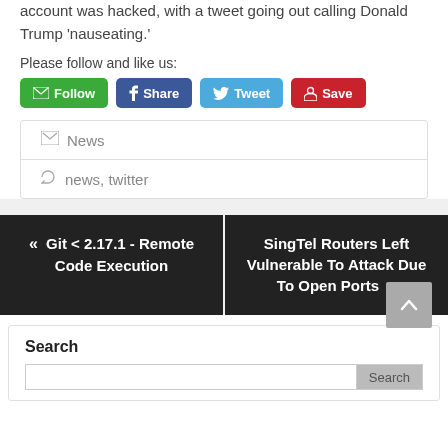account was hacked, with a tweet going out calling Donald Trump 'nauseating.'
Please follow and like us:
[Figure (infographic): Social media buttons: green Follow (email icon), blue Share (Facebook icon), light blue Tweet (Twitter icon), red Save (Pinterest icon)]
News
news, twitter
« Git < 2.17.1 - Remote Code Execution
SingTel Routers Left Vulnerable To Attack Due To Open Ports »
Search
[Figure (infographic): Search input box with search button]